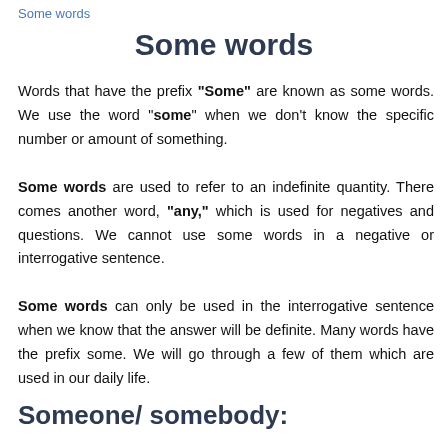Some words
Some words
Words that have the prefix "Some" are known as some words. We use the word "some" when we don't know the specific number or amount of something. Some words are used to refer to an indefinite quantity. There comes another word, "any," which is used for negatives and questions. We cannot use some words in a negative or interrogative sentence. Some words can only be used in the interrogative sentence when we know that the answer will be definite. Many words have the prefix some. We will go through a few of them which are used in our daily life.
Someone/ somebody: